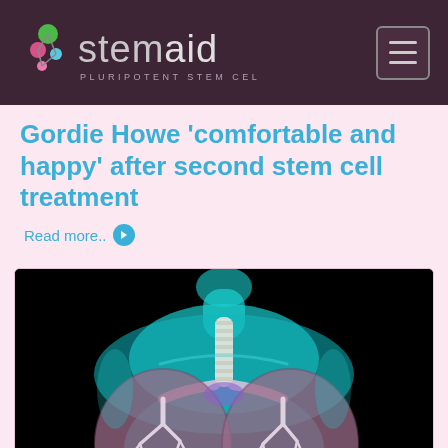stemaid — PLURIPOTENT STEM CELLS
Gordie Howe 'comfortable and happy' after second stem cell treatment
Read more..
[Figure (illustration): Medical illustration of a human torso (teal/cyan translucent silhouette on black background) showing the respiratory system including trachea and lungs with visible internal bronchial tree structures. The lungs appear in a pinkish-mauve color with detailed branching airways.]